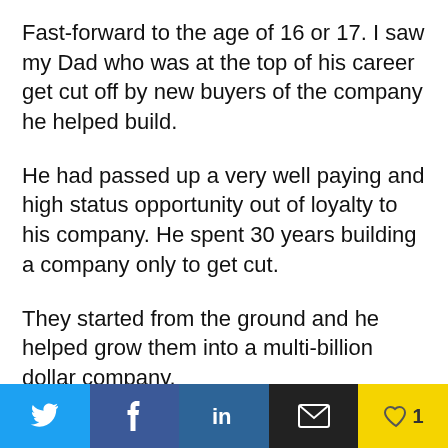Fast-forward to the age of 16 or 17. I saw my Dad who was at the top of his career get cut off by new buyers of the company he helped build.
He had passed up a very well paying and high status opportunity out of loyalty to his company. He spent 30 years building a company only to get cut.
They started from the ground and he helped grow them into a multi-billion dollar company.
Why would they cut him?
Social share bar: Twitter, Facebook, LinkedIn, Email, Like (1)